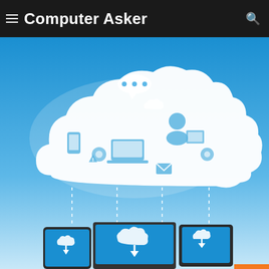Computer Asker
[Figure (illustration): Cloud computing infographic illustration showing a large cloud shape filled with technology icons (devices, social media, cloud symbols, gears, people icons, etc.) with dotted lines dropping down to three devices: a smartphone, a laptop, and a tablet, all on a blue gradient background. The devices each show a cloud upload icon on their screens.]